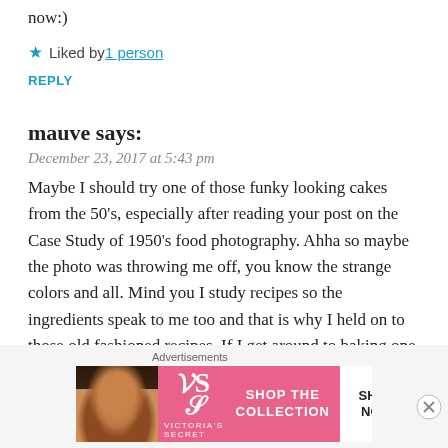now:)
★ Liked by 1 person
REPLY
mauve says:
December 23, 2017 at 5:43 pm
Maybe I should try one of those funky looking cakes from the 50's, especially after reading your post on the Case Study of 1950's food photography. Ahha so maybe the photo was throwing me off, you know the strange colors and all. Mind you I study recipes so the ingredients speak to me too and that is why I held on to those old fashioned recipes. If I get around to baking one I will definitely post it and send you the link of the before and recent photo;)
Advertisements
[Figure (photo): Victoria's Secret advertisement banner with a woman's photo on left, VS logo in center, 'SHOP THE COLLECTION' text, and 'SHOP NOW' button on right]